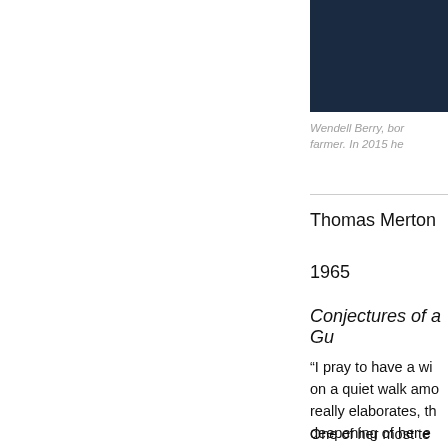[Figure (photo): Dark blue/navy photograph of a person, cropped at top right of page]
Wendell Berry, born farmer. In 2015 he
Thomas Merton
1965
Conjectures of a Gu
“I pray to have a wi on a quiet walk amo really elaborates, th deepening of her e was simply a matte thought she was go
One of her most te